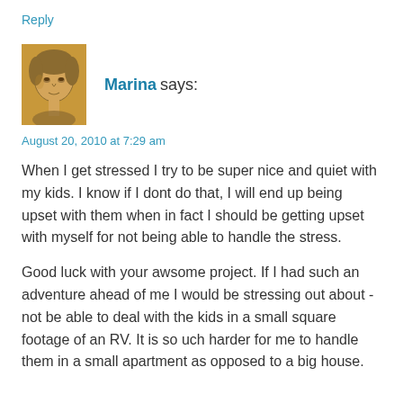Reply
[Figure (photo): Avatar photo of a woman, pencil sketch style portrait with warm golden-brown background]
Marina says:
August 20, 2010 at 7:29 am
When I get stressed I try to be super nice and quiet with my kids. I know if I dont do that, I will end up being upset with them when in fact I should be getting upset with myself for not being able to handle the stress.
Good luck with your awsome project. If I had such an adventure ahead of me I would be stressing out about - not be able to deal with the kids in a small square footage of an RV. It is so uch harder for me to handle them in a small apartment as opposed to a big house.